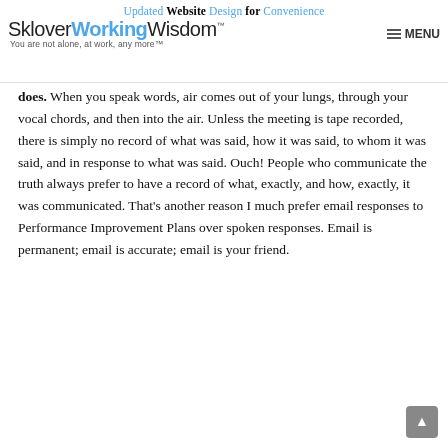Updated Website Design for Convenience — SkloverWorkingWisdom™ You are not alone, at work, any more™ MENU
does. When you speak words, air comes out of your lungs, through your vocal chords, and then into the air. Unless the meeting is tape recorded, there is simply no record of what was said, how it was said, to whom it was said, and in response to what was said. Ouch! People who communicate the truth always prefer to have a record of what, exactly, and how, exactly, it was communicated. That's another reason I much prefer email responses to Performance Improvement Plans over spoken responses. Email is permanent; email is accurate; email is your friend.